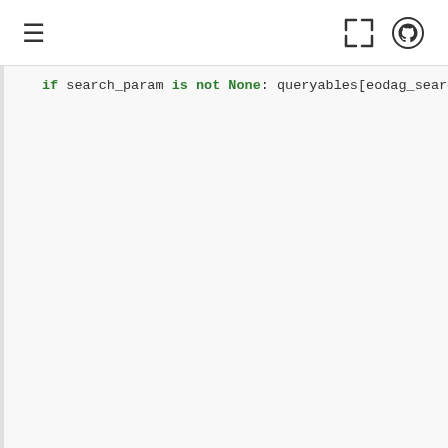≡  [expand icon] [github icon]
if search_param is not None:
    queryables[eodag_search_
# query param from metadata auto
elif md_value == NOT_MAPPED and ...
    self.config, "discover_metada
).get("auto_discovery", False):
    pattern = re.compile(
        self.config.discover_meta
    )
    search_param_cfg = self.conf...
        "search_param", ""
    )
    if pattern.match(eodag_search...
        search_param_cfg, str
    ):
        search_param = search_pa...
            metadata=eodag_searc
        )
        queryables[eodag_search_
    elif pattern.match(eodag_sea...
        search_param_cfg, dict
    ):
        search_param_cfg_parsed